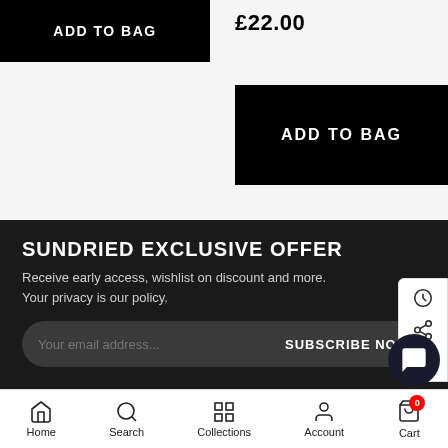£22.00
[Figure (screenshot): ADD TO BAG button (black, left top)]
[Figure (screenshot): ADD TO BAG button (black, right)]
[Figure (other): Carousel pagination dots, first dot filled]
SUNDRIED EXCLUSIVE OFFER
Receive early access, wishlist on discount and more. Your privacy is our policy.
Your email address... SUBSCRIBE NOW
Home  Search  Collections  Account  Cart